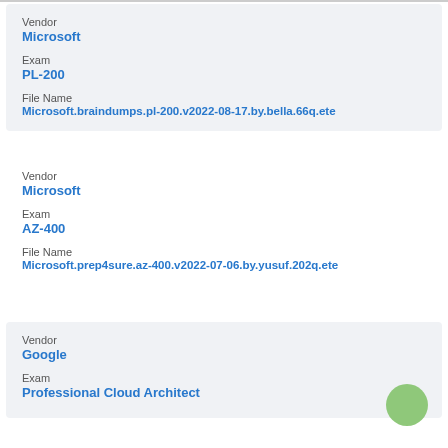Vendor
Microsoft
Exam
PL-200
File Name
Microsoft.braindumps.pl-200.v2022-08-17.by.bella.66q.ete
Vendor
Microsoft
Exam
AZ-400
File Name
Microsoft.prep4sure.az-400.v2022-07-06.by.yusuf.202q.ete
Vendor
Google
Exam
Professional Cloud Architect